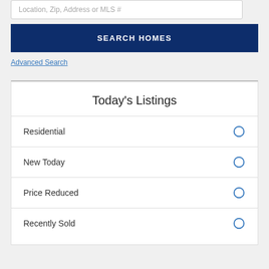Location, Zip, Address or MLS #
SEARCH HOMES
Advanced Search
Today's Listings
Residential
New Today
Price Reduced
Recently Sold